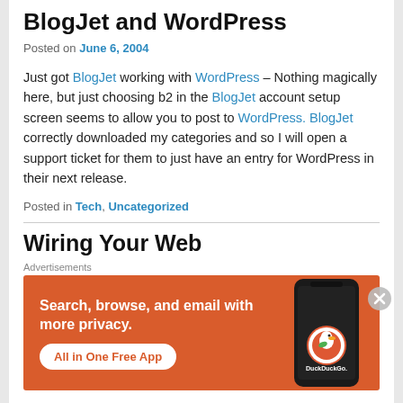BlogJet and WordPress
Posted on June 6, 2004
Just got BlogJet working with WordPress – Nothing magically here, but just choosing b2 in the BlogJet account setup screen seems to allow you to post to WordPress. BlogJet correctly downloaded my categories and so I will open a support ticket for them to just have an entry for WordPress in their next release.
Posted in Tech, Uncategorized
Wiring Your Web
[Figure (screenshot): DuckDuckGo advertisement banner showing 'Search, browse, and email with more privacy. All in One Free App' with a phone image and DuckDuckGo logo on orange background]